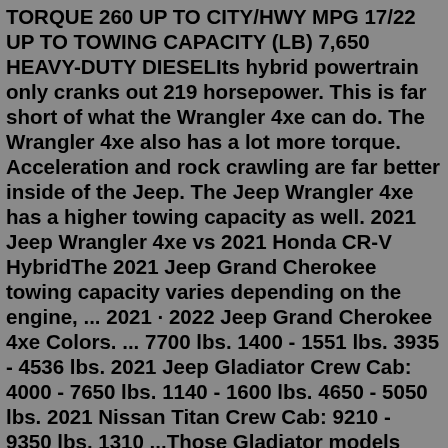TORQUE 260 UP TO CITY/HWY MPG 17/22 UP TO TOWING CAPACITY (LB) 7,650 HEAVY-DUTY DIESELIts hybrid powertrain only cranks out 219 horsepower. This is far short of what the Wrangler 4xe can do. The Wrangler 4xe also has a lot more torque. Acceleration and rock crawling are far better inside of the Jeep. The Jeep Wrangler 4xe has a higher towing capacity as well. 2021 Jeep Wrangler 4xe vs 2021 Honda CR-V HybridThe 2021 Jeep Grand Cherokee towing capacity varies depending on the engine, ... 2021 · 2022 Jeep Grand Cherokee 4xe Colors. ... 7700 lbs. 1400 - 1551 lbs. 3935 - 4536 lbs. 2021 Jeep Gladiator Crew Cab: 4000 - 7650 lbs. 1140 - 1600 lbs. 4650 - 5050 lbs. 2021 Nissan Titan Crew Cab: 9210 - 9350 lbs. 1310 ...Those Gladiator models equipped with the Pentastar feature up to 1,700 lbs. of payload and up 7,650 lbs. of towing capacity thanks to the available Max Towing Package available on Sport and Sport S models. 2022 Jeep® Gladiator High Altitude in Snazzberry. (Jeep).As we noted above, the 2020 Jeep Wrangler towing capacity reaches its limit